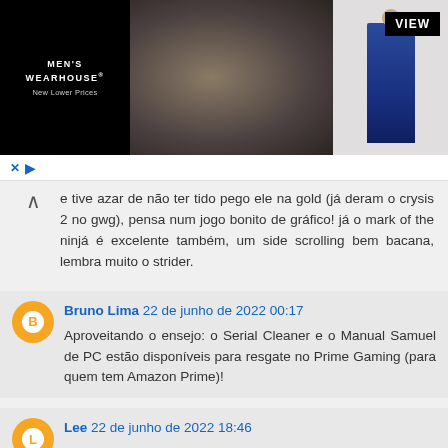[Figure (photo): Men's Wearhouse advertisement banner showing a couple in formal wear and a man in a blue suit, with 'VIEW' button]
e tive azar de não ter tido pego ele na gold (já deram o crysis 2 no gwg), pensa num jogo bonito de gráfico! já o mark of the ninjá é excelente também, um side scrolling bem bacana, lembra muito o strider.
Bruno Lima 22 de junho de 2022 00:17
Aproveitando o ensejo: o Serial Cleaner e o Manual Samuel de PC estão disponíveis para resgate no Prime Gaming (para quem tem Amazon Prime)!
Lee 22 de junho de 2022 18:46
Descobri que estão produzindo a sequência do Serial Cleaner. Já tenho no pc, mas por preço de